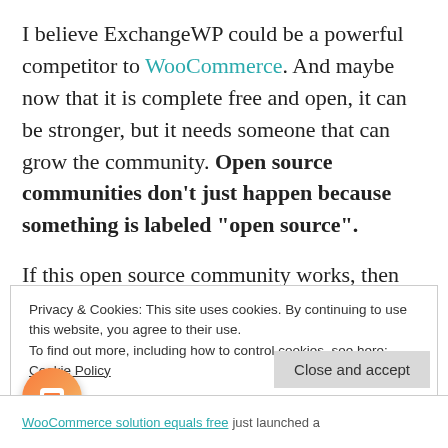I believe ExchangeWP could be a powerful competitor to WooCommerce. And maybe now that it is complete free and open, it can be stronger, but it needs someone that can grow the community. Open source communities don't just happen because something is labeled "open source".
If this open source community works, then I'd expect to see a wave of new service based providers, building business around WordPress and
Privacy & Cookies: This site uses cookies. By continuing to use this website, you agree to their use.
To find out more, including how to control cookies, see here: Cookie Policy
Close and accept